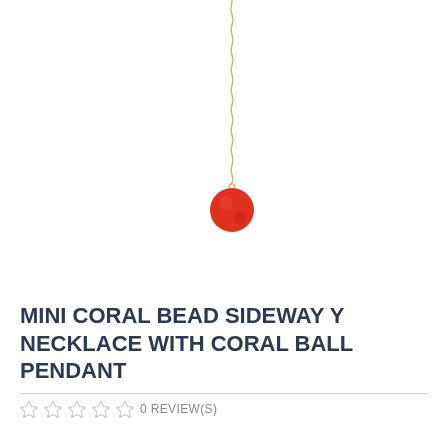[Figure (photo): Product photo of a mini coral bead sideway Y necklace with a gold chain hanging vertically from the top center of the image, ending in a small red/coral spherical ball pendant against a white background.]
MINI CORAL BEAD SIDEWAY Y NECKLACE WITH CORAL BALL PENDANT
0 REVIEW(S)